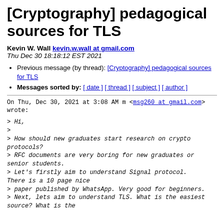[Cryptography] pedagogical sources for TLS
Kevin W. Wall kevin.w.wall at gmail.com
Thu Dec 30 18:18:12 EST 2021
Previous message (by thread): [Cryptography] pedagogical sources for TLS
Messages sorted by: [ date ] [ thread ] [ subject ] [ author ]
On Thu, Dec 30, 2021 at 3:08 AM m <msg260 at gmail.com> wrote:
> Hi,
>
> How should new graduates start research on crypto protocols?
> RFC documents are very boring for new graduates or senior students.
> Let's firstly aim to understand Signal protocol. There is a 10 page nice
> paper published by WhatsApp. Very good for beginners.
> Next, lets aim to understand TLS. What is the easiest source? What is the